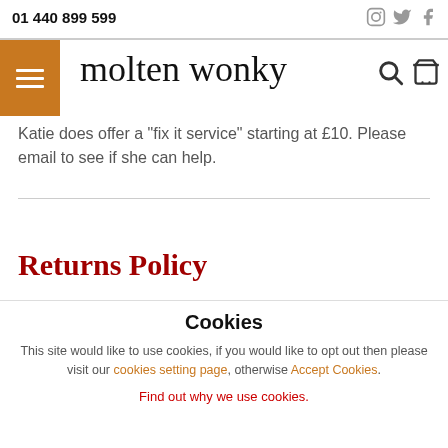01 440 899 599
[Figure (logo): molten wonky brand logo with hamburger menu icon and shopping/search icons]
Katie does offer a "fix it service" starting at £10. Please email to see if she can help.
Returns Policy
Cookies
This site would like to use cookies, if you would like to opt out then please visit our cookies setting page, otherwise Accept Cookies.
Find out why we use cookies.